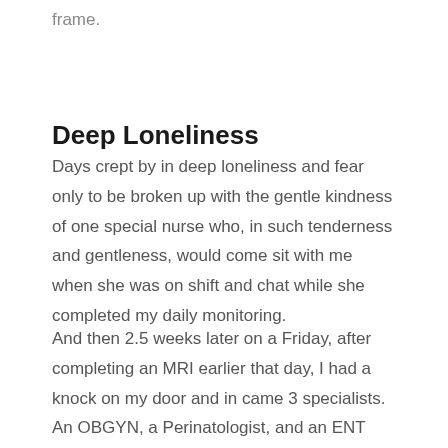frame.
Deep Loneliness
Days crept by in deep loneliness and fear only to be broken up with the gentle kindness of one special nurse who, in such tenderness and gentleness, would come sit with me when she was on shift and chat while she completed my daily monitoring.
And then 2.5 weeks later on a Friday, after completing an MRI earlier that day, I had a knock on my door and in came 3 specialists. An OBGYN, a Perinatologist, and an ENT specialist. They came bearing information about what the